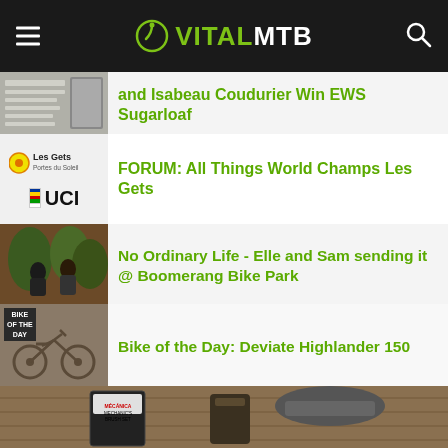VitalMTB
and Isabeau Coudurier Win EWS Sugarloaf
FORUM: All Things World Champs Les Gets
No Ordinary Life - Elle and Sam sending it @ Boomerang Bike Park
Bike of the Day: Deviate Highlander 150
[Figure (photo): Vital MTB branded merchandise including a snapback hat, mechanic's brush set, socks, and a 'Your Dream' branded package on a wooden background]